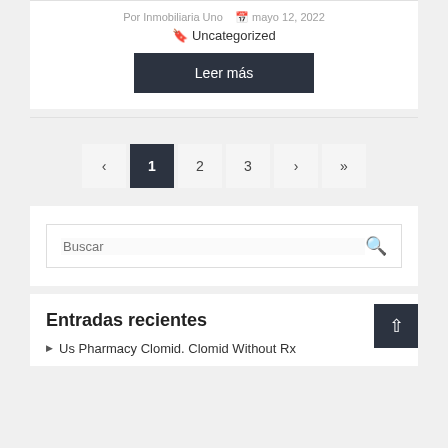Por Inmobiliaria Uno  mayo 12, 2022  Uncategorized
Leer más
‹  1  2  3  ›  »
Buscar
Entradas recientes
Us Pharmacy Clomid. Clomid Without Rx